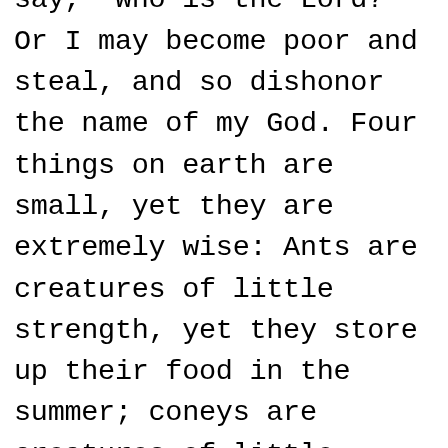much and disown you and say, "Who is the Lord?"  Or I may become poor and steal, and so dishonor the name of my God.  Four things on earth are small, yet they are extremely wise:  Ants are creatures of little strength, yet they store up their food in the summer; coneys are creatures of little power, yet they make their home in the crags; locusts have no king, yet they advance together in ranks; a lizard can be caught with the hand, yet it is found in kings' palaces.  If you have played the fool and exalted yourself, or if you have planned evil, clap your hand over your mouth!  For as churning the milk produces butter, and as twisting the nose produces blood, so stirring up anger produces strife.